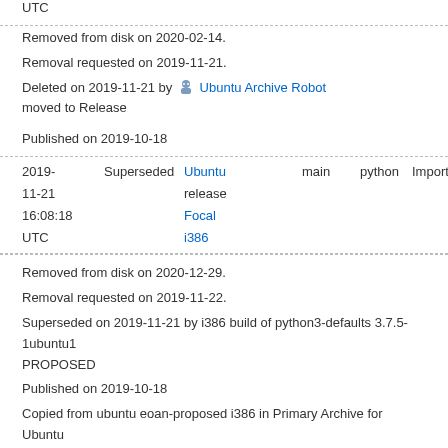UTC
Removed from disk on 2020-02-14.
Removal requested on 2019-11-21.
Deleted on 2019-11-21 by Ubuntu Archive Robot moved to Release
Published on 2019-10-18
| Date | Status | Link | Release | Pocket | Component | Priority |
| --- | --- | --- | --- | --- | --- | --- |
| 2019-11-21 16:08:18 UTC | Superseded | Ubuntu Focal i386 | release | main | python | Important |
Removed from disk on 2020-12-29.
Removal requested on 2019-11-22.
Superseded on 2019-11-21 by i386 build of python3-defaults 3.7.5-1ubuntu1 PROPOSED
Published on 2019-10-18
Copied from ubuntu eoan-proposed i386 in Primary Archive for Ubuntu
Source package
python3-defaults package in Ubuntu